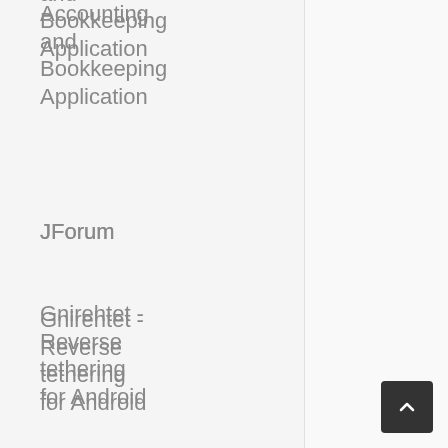Accounting and Bookkeeping Application
JForum
Gnirehtet - Reverse tethering for Android
MediaGobli - Media Publishing Platform
Polr - A modern, powerful, and robust